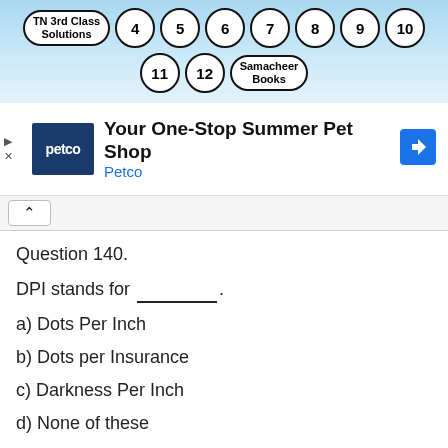TN 3rd Class Solutions | 4 | 5 | 6 | 7 | 8 | 9 | 10 | 11 | 12 | Samacheer Books
[Figure (screenshot): Petco advertisement banner: Your One-Stop Summer Pet Shop]
Question 140.
DPI stands for ________.
a) Dots Per Inch
b) Dots per Insurance
c) Darkness Per Inch
d) None of these
Answer:
a) Dots Per Inch